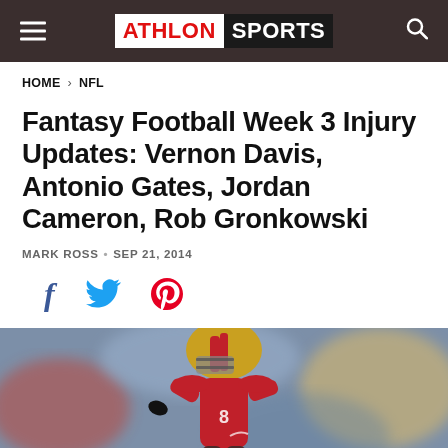ATHLON SPORTS
HOME › NFL
Fantasy Football Week 3 Injury Updates: Vernon Davis, Antonio Gates, Jordan Cameron, Rob Gronkowski
MARK ROSS • SEP 21, 2014
[Figure (other): Social share icons: Facebook (f), Twitter (bird), Pinterest (p)]
[Figure (photo): A San Francisco 49ers player in red uniform and gold helmet running on a football field, with blurred crowd in background]